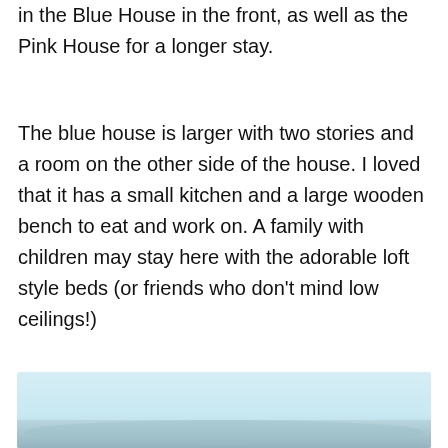in the Blue House in the front, as well as the Pink House for a longer stay.
The blue house is larger with two stories and a room on the other side of the house. I loved that it has a small kitchen and a large wooden bench to eat and work on. A family with children may stay here with the adorable loft style beds (or friends who don't mind low ceilings!)
[Figure (photo): A photograph showing a soft blurred outdoor scene with light blue sky and subtle ground elements, cropped at the bottom of the page.]